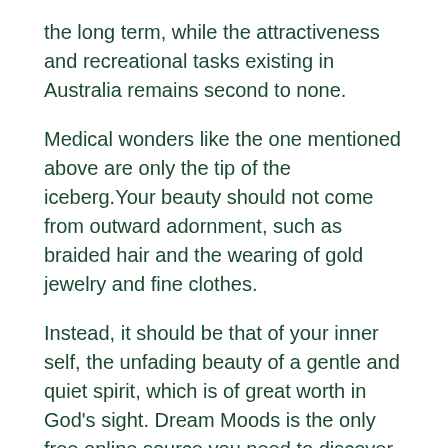the long term, while the attractiveness and recreational tasks existing in Australia remains second to none.
Medical wonders like the one mentioned above are only the tip of the iceberg.Your beauty should not come from outward adornment, such as braided hair and the wearing of gold jewelry and fine clothes.
Instead, it should be that of your inner self, the unfading beauty of a gentle and quiet spirit, which is of great worth in God's sight. Dream Moods is the only free online source you need to discover the meanings to your dreams.
Check out our ever expanding dream dictionary, fascinating discussion forums, and other interesting topics related to dreaming. The Jesuit Relations and Allied Documents. Travels and Explorations.